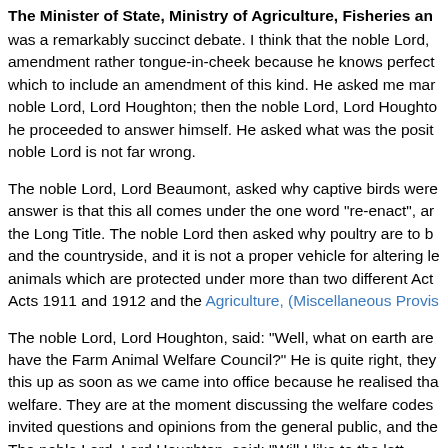The Minister of State, Ministry of Agriculture, Fisheries and...
was a remarkably succinct debate. I think that the noble Lord, amendment rather tongue-in-cheek because he knows perfect which to include an amendment of this kind. He asked me mar noble Lord, Lord Houghton; then the noble Lord, Lord Houghto he proceeded to answer himself. He asked what was the posit noble Lord is not far wrong.
The noble Lord, Lord Beaumont, asked why captive birds were answer is that this all comes under the one word "re-enact", an the Long Title. The noble Lord then asked why poultry are to b and the countryside, and it is not a proper vehicle for altering le animals which are protected under more than two different Act Acts 1911 and 1912 and the Agriculture, (Miscellaneous Provis
The noble Lord, Lord Houghton, said: "Well, what on earth are have the Farm Animal Welfare Council?" He is quite right, they this up as soon as we came into office because he realised tha welfare. They are at the moment discussing the welfare codes invited questions and opinions from the general public, and the The noble Lord, Lord Houghton, said: "Well, I like to the lett..."